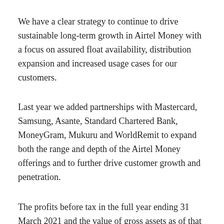We have a clear strategy to continue to drive sustainable long-term growth in Airtel Money with a focus on assured float availability, distribution expansion and increased usage cases for our customers.
Last year we added partnerships with Mastercard, Samsung, Asante, Standard Chartered Bank, MoneyGram, Mukuru and WorldRemit to expand both the range and depth of the Airtel Money offerings and to further drive customer growth and penetration.
The profits before tax in the full year ending 31 March 2021 and the value of gross assets as of that date, attributable to the mobile money businesses were $185m and $668m,